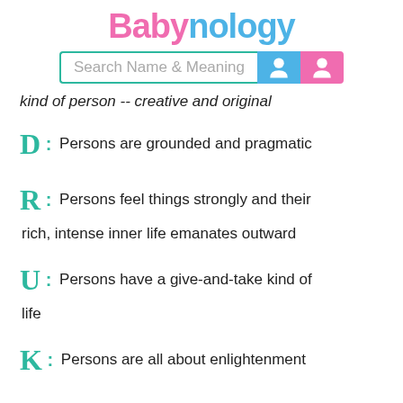[Figure (logo): Babynology logo with pink 'Baby' and blue 'nology' text]
[Figure (screenshot): Search bar with 'Search Name & Meaning' placeholder, blue male and pink female icon buttons]
kind of person -- creative and original
D : Persons are grounded and pragmatic
R : Persons feel things strongly and their rich, intense inner life emanates outward
U : Persons have a give-and-take kind of life
K : Persons are all about enlightenment